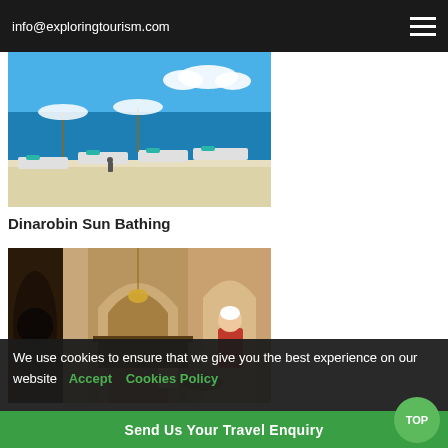info@exploringtourism.com
[Figure (photo): Beach lounge chairs with white mattresses and teal cushions on white sand, tropical ocean and blue sky in background — Dinarobin Sun Bathing]
Dinarobin Sun Bathing
[Figure (photo): Spa interior with arched wooden doorways, a therapist kneeling performing a foot treatment on a woman in a pink/red towel seated on a stool — Dinarobin Spa]
Dinarobin Spa
[Figure (photo): Tropical mountain landscape with lush palm trees and a dramatic rocky peak against blue sky]
We use cookies to ensure that we give you the best experience on our website   Accept   Cookies Policy
Send Us Your Travel Enquiry